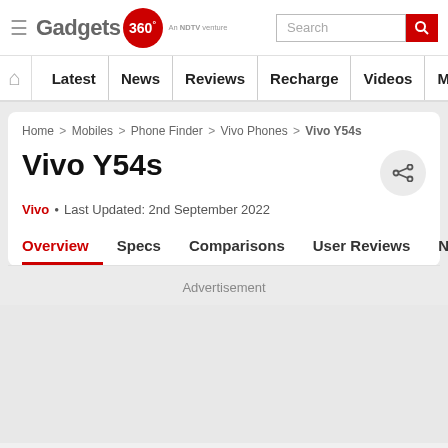Gadgets 360 – An NDTV venture | Search
Latest | News | Reviews | Recharge | Videos | More
Home > Mobiles > Phone Finder > Vivo Phones > Vivo Y54s
Vivo Y54s
Vivo • Last Updated: 2nd September 2022
Overview | Specs | Comparisons | User Reviews | News
Advertisement